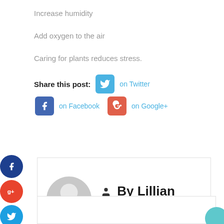Increase humidity
Add oxygen to the air
Caring for plants reduces stress.
Share this post: on Twitter on Facebook on Google+
[Figure (infographic): Side social media share buttons: Facebook (dark blue circle), Google+ (red circle), Twitter (blue circle), Plus (dark circle)]
[Figure (infographic): Author box with avatar placeholder and name: By Lillian Williamson]
[Figure (other): Comment input box area with teal circle button on the right]